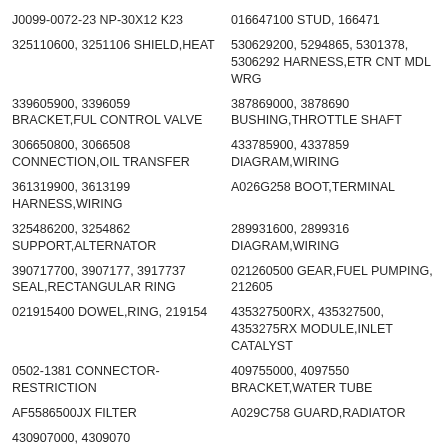J0099-0072-23 NP-30X12 K23
016647100 STUD, 166471
325110600, 3251106 SHIELD,HEAT
530629200, 5294865, 5301378, 5306292 HARNESS,ETR CNT MDL WRG
339605900, 3396059 BRACKET,FUL CONTROL VALVE
387869000, 3878690 BUSHING,THROTTLE SHAFT
306650800, 3066508 CONNECTION,OIL TRANSFER
433785900, 4337859 DIAGRAM,WIRING
361319900, 3613199 HARNESS,WIRING
A026G258 BOOT,TERMINAL
325486200, 3254862 SUPPORT,ALTERNATOR
289931600, 2899316 DIAGRAM,WIRING
390717700, 3907177, 3917737 SEAL,RECTANGULAR RING
021260500 GEAR,FUEL PUMPING, 212605
021915400 DOWEL,RING, 219154
435327500RX, 435327500, 4353275RX MODULE,INLET CATALYST
0502-1381 CONNECTOR-RESTRICTION
409755000, 4097550 BRACKET,WATER TUBE
AF5586500JX FILTER
A029C758 GUARD,RADIATOR
430907000, 4309070